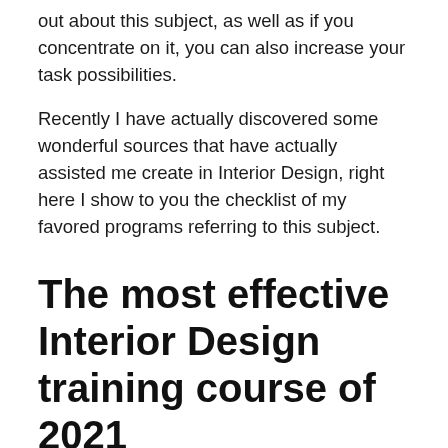out about this subject, as well as if you concentrate on it, you can also increase your task possibilities.
Recently I have actually discovered some wonderful sources that have actually assisted me create in Interior Design, right here I show to you the checklist of my favored programs referring to this subject.
The most effective Interior Design training course of 2021
With numerous various interior decoration styles offered today, do you locate on your own obtaining